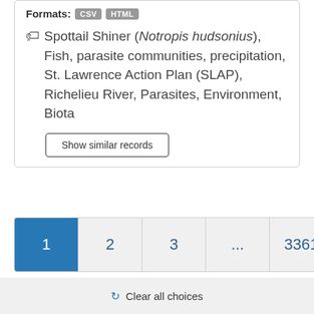Formats: CSV HTML
Spottail Shiner (Notropis hudsonius), Fish, parasite communities, precipitation, St. Lawrence Action Plan (SLAP), Richelieu River, Parasites, Environment, Biota
Show similar records
1  2  3  ...  3361  Next
Clear all choices